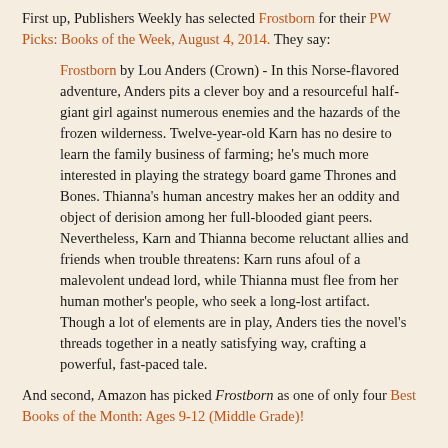First up, Publishers Weekly has selected Frostborn for their PW Picks: Books of the Week, August 4, 2014. They say:
Frostborn by Lou Anders (Crown) - In this Norse-flavored adventure, Anders pits a clever boy and a resourceful half-giant girl against numerous enemies and the hazards of the frozen wilderness. Twelve-year-old Karn has no desire to learn the family business of farming; he's much more interested in playing the strategy board game Thrones and Bones. Thianna's human ancestry makes her an oddity and object of derision among her full-blooded giant peers. Nevertheless, Karn and Thianna become reluctant allies and friends when trouble threatens: Karn runs afoul of a malevolent undead lord, while Thianna must flee from her human mother's people, who seek a long-lost artifact. Though a lot of elements are in play, Anders ties the novel's threads together in a neatly satisfying way, crafting a powerful, fast-paced tale.
And second, Amazon has picked Frostborn as one of only four Best Books of the Month: Ages 9-12 (Middle Grade)!